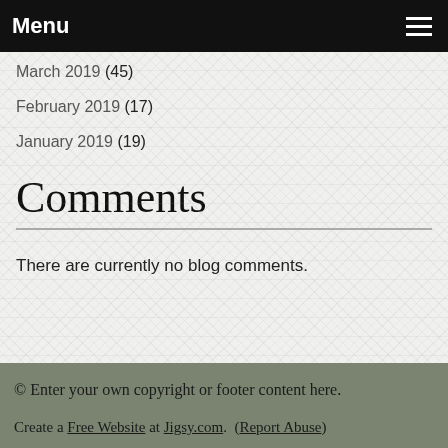Menu
March 2019 (45)
February 2019 (17)
January 2019 (19)
Comments
There are currently no blog comments.
© Enter your own copyright or footer content here.
Create a Free Website at Jigsy.com. (Report Abuse)